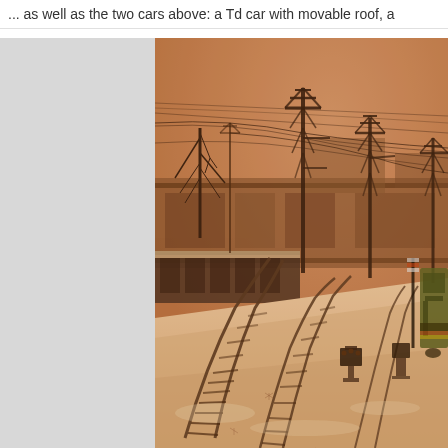... as well as the two cars above: a Td car with movable roof, a
[Figure (photo): Sepia-toned vintage photograph of a snow-covered railway yard with multiple tracks curving into the distance, overhead electric catenary masts and wiring, bare trees, industrial buildings in the background, and a locomotive visible at the right edge.]